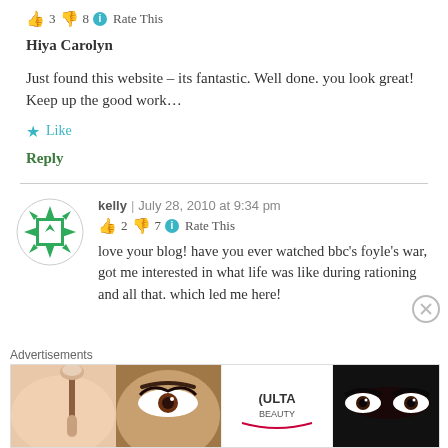👍 3 👎 8 ℹ Rate This
Hiya Carolyn
Just found this website – its fantastic. Well done. you look great! Keep up the good work…
★ Like
Reply
kelly | July 28, 2010 at 9:34 pm
👍 2 👎 7 ℹ Rate This
love your blog! have you ever watched bbc's foyle's war, got me interested in what life was like during rationing and all that. which led me here!
Advertisements
[Figure (other): ULTA beauty advertisement banner with makeup imagery and SHOP NOW call to action]